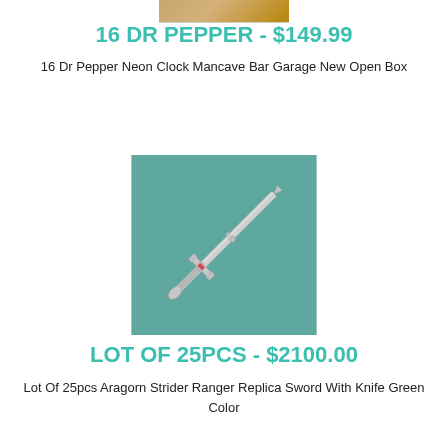[Figure (photo): Partial product image at top of page (cropped, appears to be a neon clock or similar product)]
16 DR PEPPER - $149.99
16 Dr Pepper Neon Clock Mancave Bar Garage New Open Box
[Figure (photo): A silver/chrome Aragorn Strider Ranger replica sword with crossguard, photographed diagonally on a teal/green background]
LOT OF 25PCS - $2100.00
Lot Of 25pcs Aragorn Strider Ranger Replica Sword With Knife Green Color